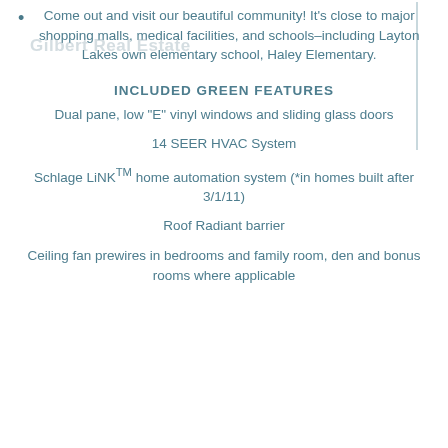Come out and visit our beautiful community! It’s close to major shopping malls, medical facilities, and schools–including Layton Lakes own elementary school, Haley Elementary.
INCLUDED GREEN FEATURES
Dual pane, low “E” vinyl windows and sliding glass doors
14 SEER HVAC System
Schlage LiNKᵀᴹ home automation system (*in homes built after 3/1/11)
Roof Radiant barrier
Ceiling fan prewires in bedrooms and family room, den and bonus rooms where applicable